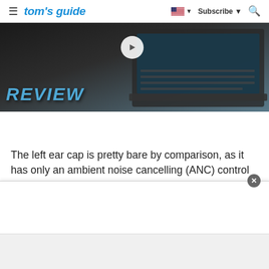tom's guide | Subscribe | Search
[Figure (screenshot): Laptop review image with 'REVIEW' text overlay and play button, showing a laptop keyboard on dark background]
The left ear cap is pretty bare by comparison, as it has only an ambient noise cancelling (ANC) control and an embedded NFC chip. I was a bit surprised to discover that the cans are completely wireless, meaning there's no port for an audio cable.